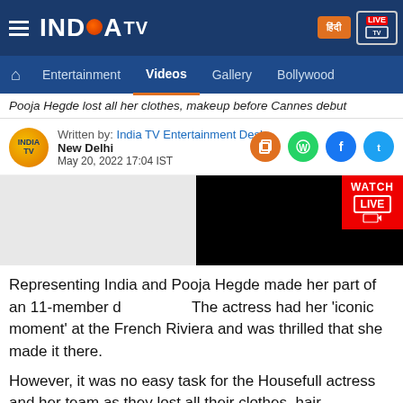[Figure (logo): India TV logo on dark blue navigation bar with hamburger menu, Hindi button, and LIVE button]
Entertainment  Videos  Gallery  Bollywood
Pooja Hegde lost all her clothes, makeup before Cannes debut
Written by: India TV Entertainment Desk
New Delhi
May 20, 2022 17:04 IST
[Figure (screenshot): Black video player thumbnail with WATCH LIVE badge in red]
Representing India and Pooja Hegde made her part of an 11-member d The actress had her 'iconic moment' at the French Riviera and was thrilled that she made it there. However, it was no easy task for the Housefull actress and her team as they lost all their clothes, hair